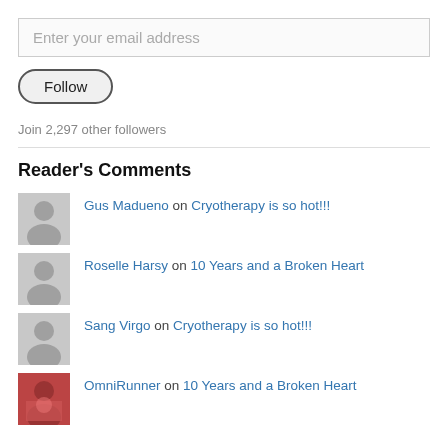Enter your email address
[Figure (other): Follow button UI element - pill-shaped button with text 'Follow']
Join 2,297 other followers
Reader's Comments
Gus Madueno on Cryotherapy is so hot!!!
Roselle Harsy on 10 Years and a Broken Heart
Sang Virgo on Cryotherapy is so hot!!!
OmniRunner on 10 Years and a Broken Heart